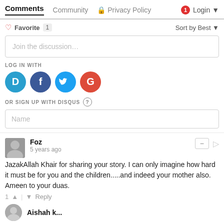Comments  Community  Privacy Policy  1  Login
♡ Favorite 1    Sort by Best ▾
Join the discussion…
LOG IN WITH
[Figure (illustration): Social login icons: Disqus (D), Facebook (f), Twitter bird, Google (G)]
OR SIGN UP WITH DISQUS ?
Name
Foz
5 years ago
JazakAllah Khair for sharing your story. I can only imagine how hard it must be for you and the children.....and indeed your mother also. Ameen to your duas.
1 ▲ | ▼ Reply
Aishah k...